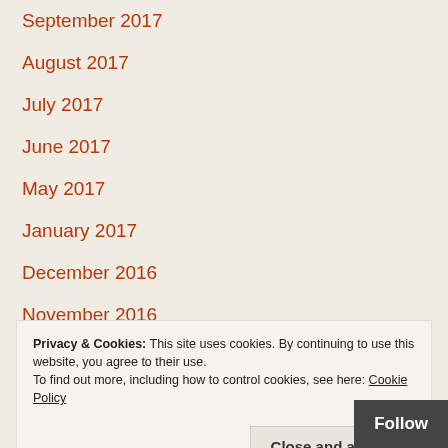September 2017
August 2017
July 2017
June 2017
May 2017
January 2017
December 2016
November 2016
October 2016
September 2016
Privacy & Cookies: This site uses cookies. By continuing to use this website, you agree to their use. To find out more, including how to control cookies, see here: Cookie Policy
Close and accept
Follow